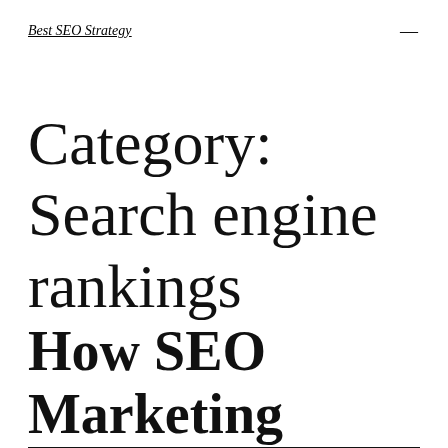Best SEO Strategy
Category: Search engine rankings
How SEO Marketing Can Make or Break a